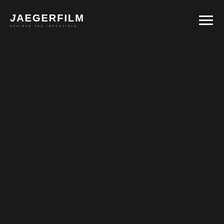JAEGERFILM — ACHIEVE THE IMPOSSIBLE
[Figure (logo): Jaegerfilm logo with stylized text 'JAEGERFILM' in bold white uppercase letters and tagline 'ACHIEVE THE IMPOSSIBLE' in small spaced grey letters below]